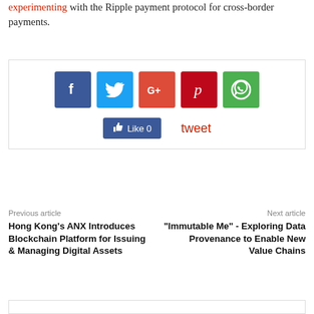experimenting with the Ripple payment protocol for cross-border payments.
[Figure (infographic): Social share bar with Facebook, Twitter, Google+, Pinterest, WhatsApp icons, a Facebook Like button (Like 0), and a tweet link]
Previous article
Next article
Hong Kong's ANX Introduces Blockchain Platform for Issuing & Managing Digital Assets
"Immutable Me" - Exploring Data Provenance to Enable New Value Chains